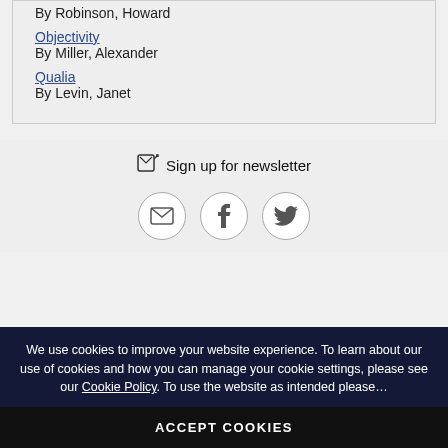Materialism in the philosophy of mind
By Robinson, Howard
Objectivity
By Miller, Alexander
Qualia
By Levin, Janet
Sign up for newsletter
[Figure (infographic): Three social media icons: email envelope, Facebook f, Twitter bird]
We use cookies to improve your website experience. To learn about our use of cookies and how you can manage your cookie settings, please see our Cookie Policy. To use the website as intended please…
ACCEPT COOKIES